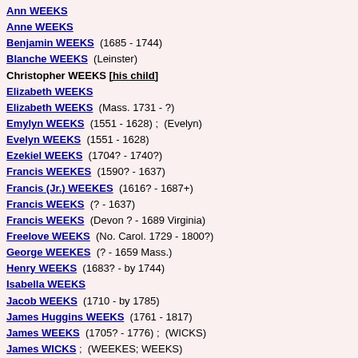Ann WEEKS
Anne WEEKS
Benjamin WEEKS  (1685 - 1744)
Blanche WEEKS  (Leinster)
Christopher WEEKS [his child]
Elizabeth WEEKS
Elizabeth WEEKS  (Mass. 1731 - ?)
Emylyn WEEKS  (1551 - 1628) ;  (Evelyn)
Evelyn WEEKS  (1551 - 1628)
Ezekiel WEEKS  (1704? - 1740?)
Francis WEEKES  (1590? - 1637)
Francis (Jr.) WEEKES  (1616? - 1687+)
Francis WEEKS  (? - 1637)
Francis WEEKS  (Devon ? - 1689 Virginia)
Freelove WEEKS  (No. Carol. 1729 - 1800?)
George WEEKES  (? - 1659 Mass.)
Henry WEEKS  (1683? - by 1744)
Isabella WEEKS
Jacob WEEKS  (1710 - by 1785)
James Huggins WEEKS  (1761 - 1817)
James WEEKS  (1705? - 1776) ;  (WICKS)
James WICKS ;  (WEEKES; WEEKS)
James WICKS  (Surrey 1627 - ?) ;  (WEEKES; WECKES)
Joan WEEKS  (1515? - 1561?)
John WEEKS  (1655? - 1730)